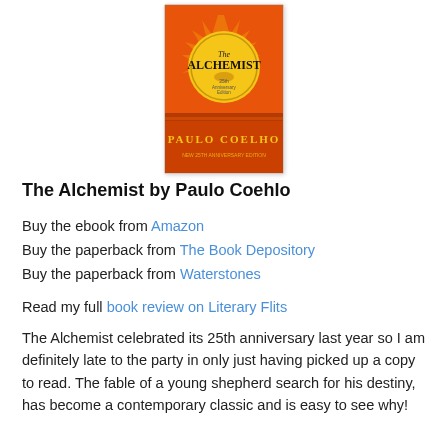[Figure (photo): Book cover of The Alchemist by Paulo Coelho, 25th Anniversary Edition. Orange background with sun motif and decorative elements.]
The Alchemist by Paulo Coehlo
Buy the ebook from Amazon
Buy the paperback from The Book Depository
Buy the paperback from Waterstones
Read my full book review on Literary Flits
The Alchemist celebrated its 25th anniversary last year so I am definitely late to the party in only just having picked up a copy to read. The fable of a young shepherd search for his destiny, has become a contemporary classic and is easy to see why!